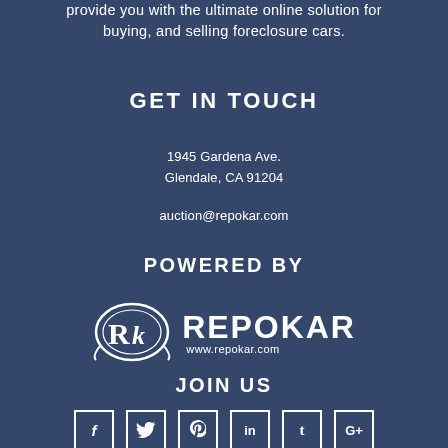provide you with the ultimate online solution for buying, and selling foreclosure cars.
GET IN TOUCH
1945 Gardena Ave.
Glendale, CA 91204
auction@repokar.com
POWERED BY
[Figure (logo): Repokar logo with RK emblem and www.repokar.com url]
JOIN US
[Figure (infographic): Social media icons: Facebook, Twitter, Pinterest, LinkedIn, Tumblr, Google+]